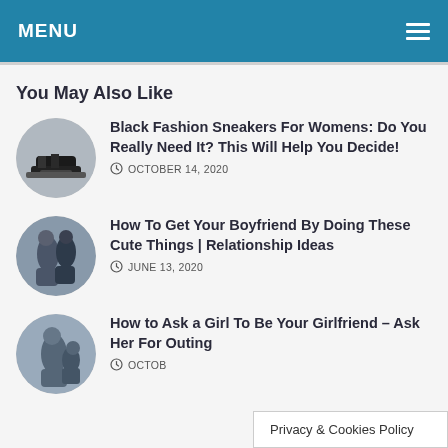MENU
You May Also Like
[Figure (photo): Circular photo of person tying black sneakers on pavement]
Black Fashion Sneakers For Womens: Do You Really Need It? This Will Help You Decide!
OCTOBER 14, 2020
[Figure (photo): Circular photo of couple hugging outdoors]
How To Get Your Boyfriend By Doing These Cute Things | Relationship Ideas
JUNE 13, 2020
[Figure (photo): Circular photo of two people outdoors]
How to Ask a Girl To Be Your Girlfriend – Ask Her For Outing
OCTOB...
Privacy & Cookies Policy